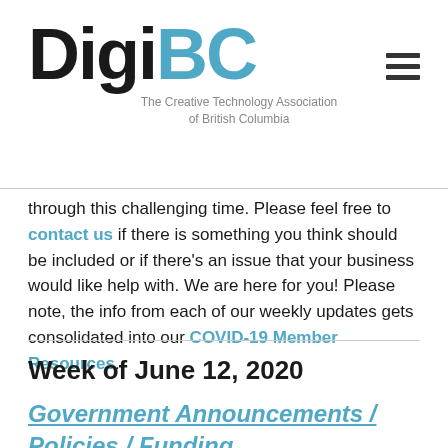[Figure (logo): DigiBC logo with 'Digi' in black and 'BC' in teal/blue, large bold text]
The Creative Technology Association of British Columbia
through this challenging time. Please feel free to contact us if there is something you think should be included or if there's an issue that your business would like help with. We are here for you! Please note, the info from each of our weekly updates gets consolidated into our COVID-19 Member Resources.
Week of June 12, 2020
Government Announcements / Policies / Funding